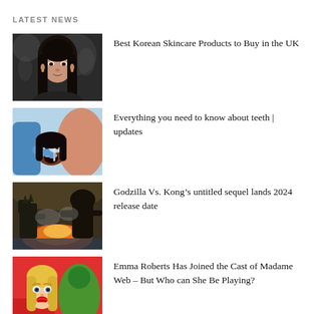LATEST NEWS
[Figure (photo): Portrait of a young Asian woman with long dark hair, looking at camera]
Best Korean Skincare Products to Buy in the UK
[Figure (photo): A dentist examining a patient's teeth, patient is a Black woman, dentist wearing blue gloves]
Everything you need to know about teeth | updates
[Figure (photo): Movie scene showing Godzilla and Kong monsters in battle with fire and smoke]
Godzilla Vs. Kong’s untitled sequel lands 2024 release date
[Figure (photo): Young blonde woman with red lips looking surprised, colorful superhero costume in background]
Emma Roberts Has Joined the Cast of Madame Web – But Who can She Be Playing?